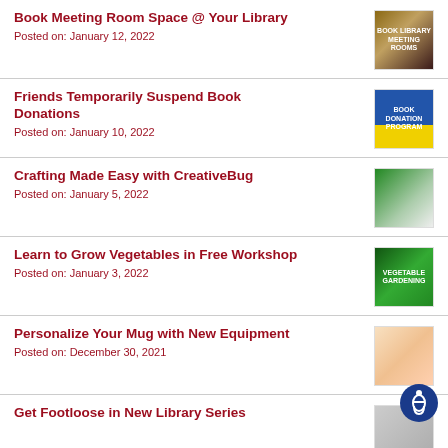Book Meeting Room Space @ Your Library
Posted on: January 12, 2022
Friends Temporarily Suspend Book Donations
Posted on: January 10, 2022
Crafting Made Easy with CreativeBug
Posted on: January 5, 2022
Learn to Grow Vegetables in Free Workshop
Posted on: January 3, 2022
Personalize Your Mug with New Equipment
Posted on: December 30, 2021
Get Footloose in New Library Series